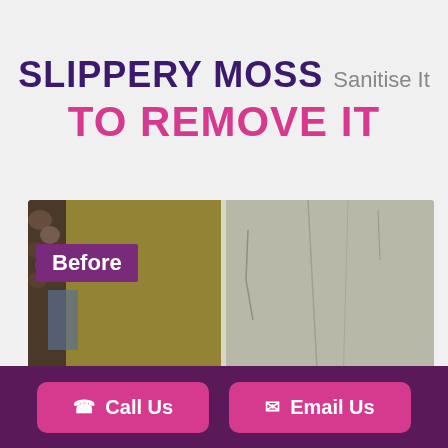SLIPPERY MOSS Sanitise It TO REMOVE IT
[Figure (photo): Before and after photo of slippery moss-covered paving stones being cleaned. Left side shows green/brown mossy surface with rocks and water, right side shows clean grey concrete after treatment. Purple 'Before' label overlaid on left side.]
Call Us
Email Us